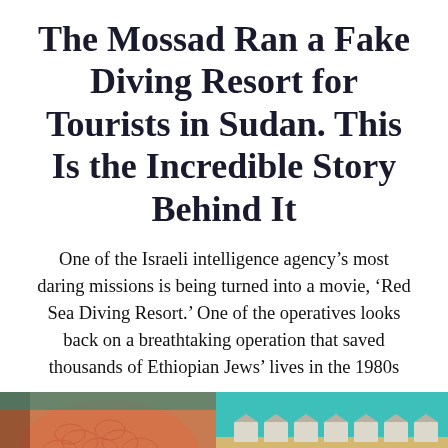The Mossad Ran a Fake Diving Resort for Tourists in Sudan. This Is the Incredible Story Behind It
One of the Israeli intelligence agency’s most daring missions is being turned into a movie, ‘Red Sea Diving Resort.’ One of the operatives looks back on a breathtaking operation that saved thousands of Ethiopian Jews’ lives in the 1980s
[Figure (photo): Bottom portion showing a coastal resort scene: left side shows a close-up of a fish, right side shows teal water with sandy beach and bungalow-style accommodations. Text reads 'Comfortable accommoda...']
[Figure (infographic): Mobile web toolbar with Twitter (bird), Facebook (f), a blue circular share/mute button in the center, bookmark icon, and email envelope icon]